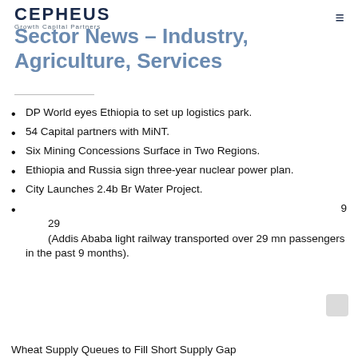CEPHEUS Growth Capital Partners
Sector News – Industry, Agriculture, Services
DP World eyes Ethiopia to set up logistics park.
54 Capital partners with MiNT.
Six Mining Concessions Surface in Two Regions.
Ethiopia and Russia sign three-year nuclear power plan.
City Launches 2.4b Br Water Project.
9
29
(Addis Ababa light railway transported over 29 mn passengers in the past 9 months).
Wheat Supply Queues to Fill Short Supply Gap